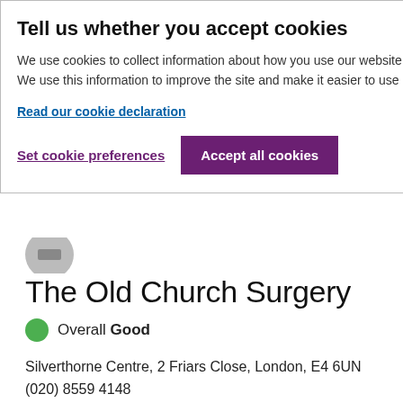Tell us whether you accept cookies
We use cookies to collect information about how you use our website. We use this information to improve the site and make it easier to use
Read our cookie declaration
Set cookie preferences
Accept all cookies
The Old Church Surgery
Overall Good
Silverthorne Centre, 2 Friars Close, London, E4 6UN
(020) 8559 4148
Provided and run by:
The Old Church Surgery